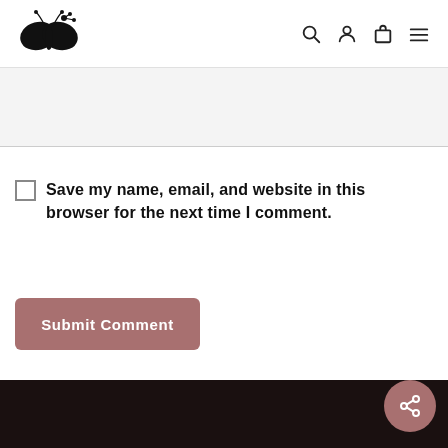Navigation header with butterfly logo and icons for search, account, cart, menu
[Figure (other): Input/comment text area with light gray background]
Save my name, email, and website in this browser for the next time I comment.
Submit Comment
[Figure (other): Dark footer area with share button (circle with share icon)]